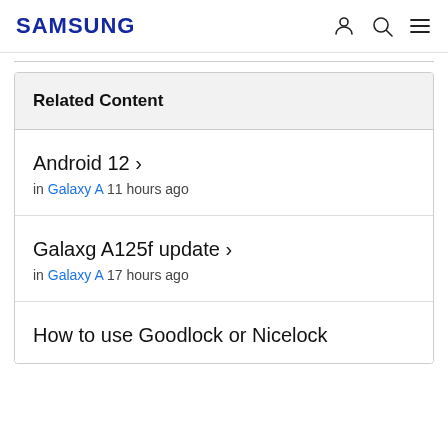SAMSUNG
Related Content
Android 12 › in Galaxy A 11 hours ago
Galaxg A125f update › in Galaxy A 17 hours ago
How to use Goodlock or Nicelock